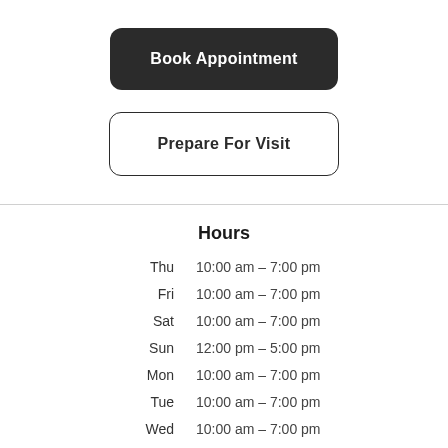Book Appointment
Prepare For Visit
Hours
| Day | Hours |
| --- | --- |
| Thu | 10:00 am – 7:00 pm |
| Fri | 10:00 am – 7:00 pm |
| Sat | 10:00 am – 7:00 pm |
| Sun | 12:00 pm – 5:00 pm |
| Mon | 10:00 am – 7:00 pm |
| Tue | 10:00 am – 7:00 pm |
| Wed | 10:00 am – 7:00 pm |